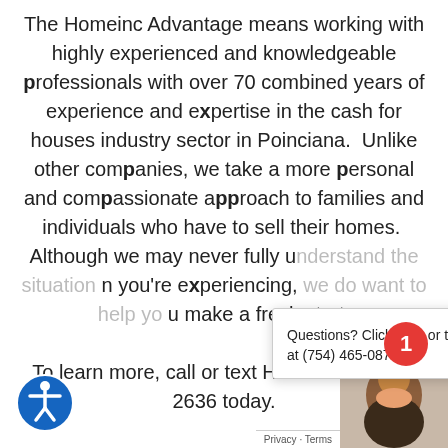The Homeinc Advantage means working with highly experienced and knowledgeable professionals with over 70 combined years of experience and expertise in the cash for houses industry sector in Poinciana.  Unlike other companies, we take a more personal and compassionate approach to families and individuals who have to sell their homes.  Although we may never fully understand the situation you're experiencing, we do want to help you make a fresh start.

To learn more, call or text Homeinc at (888) 2636 today.